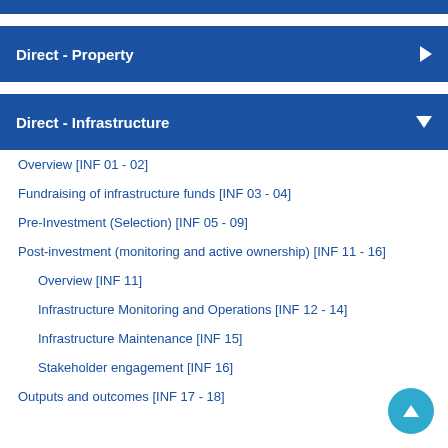Direct - Property
Direct - Infrastructure
Overview [INF 01 - 02]
Fundraising of infrastructure funds [INF 03 - 04]
Pre-Investment (Selection) [INF 05 - 09]
Post-investment (monitoring and active ownership) [INF 11 - 16]
Overview [INF 11]
Infrastructure Monitoring and Operations [INF 12 - 14]
Infrastructure Maintenance [INF 15]
Stakeholder engagement [INF 16]
Outputs and outcomes [INF 17 - 18]